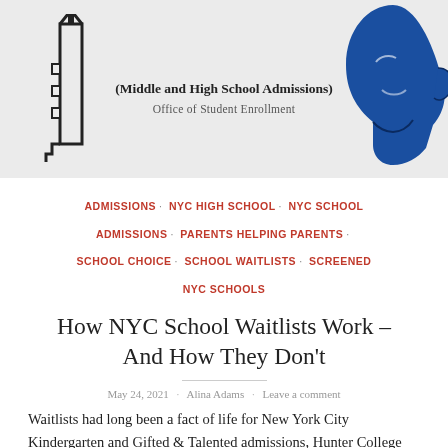[Figure (illustration): MySchools Tutorial banner header with a pencil/building icon on the left, subtitle '(Middle and High School Admissions)' and 'Office of Student Enrollment', and a blue face silhouette illustration on the right, on a light gray background.]
ADMISSIONS · NYC HIGH SCHOOL · NYC SCHOOL ADMISSIONS · PARENTS HELPING PARENTS · SCHOOL CHOICE · SCHOOL WAITLISTS · SCREENED NYC SCHOOLS
How NYC School Waitlists Work – And How They Don't
May 24, 2021 · Alina Adams · Leave a comment
Waitlists had long been a fact of life for New York City Kindergarten and Gifted & Talented admissions, Hunter College Elementary, and other public charter schools. But